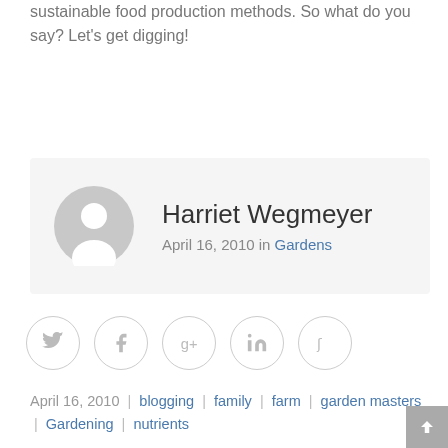sustainable food production methods. So what do you say? Let's get digging!
[Figure (other): Author card with avatar placeholder showing Harriet Wegmeyer, April 16, 2010 in Gardens]
[Figure (other): Social share icons: Twitter, Facebook, Google+, LinkedIn, StumbleUpon]
April 16, 2010 | blogging | family | farm | garden masters | Gardening | nutrients